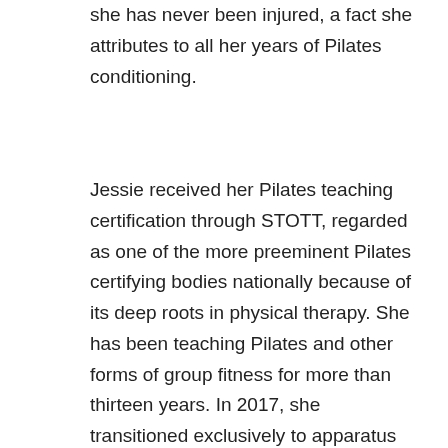she has never been injured, a fact she attributes to all her years of Pilates conditioning.
Jessie received her Pilates teaching certification through STOTT, regarded as one of the more preeminent Pilates certifying bodies nationally because of its deep roots in physical therapy. She has been teaching Pilates and other forms of group fitness for more than thirteen years. In 2017, she transitioned exclusively to apparatus training, which includes the Reformer, Tower/Cadillac, Pilates chairs, jump boards and Bosu balls. In addition to